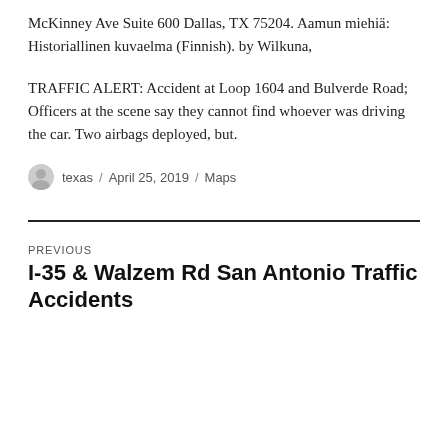McKinney Ave Suite 600 Dallas, TX 75204. Aamun miehiä: Historiallinen kuvaelma (Finnish). by Wilkuna,
TRAFFIC ALERT: Accident at Loop 1604 and Bulverde Road; Officers at the scene say they cannot find whoever was driving the car. Two airbags deployed, but.
texas / April 25, 2019 / Maps
PREVIOUS
I-35 & Walzem Rd San Antonio Traffic Accidents